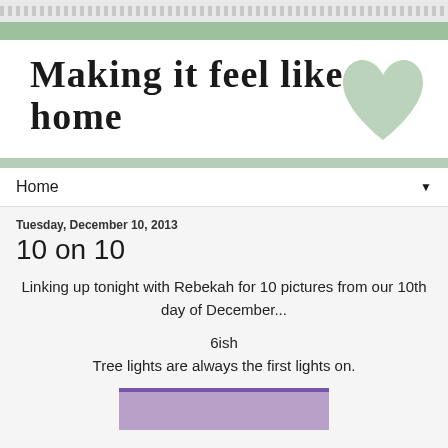Making it feel like home — MAKING A HAPPY HOME FOR MYSELF AND MY YOUNG FAMILY, 576 MILES AWAY FROM MY HOMETOWN
Home ▼
Tuesday, December 10, 2013
10 on 10
Linking up tonight with Rebekah for 10 pictures from our 10th day of December...
6ish
Tree lights are always the first lights on.
[Figure (photo): Bottom portion of a photo partially visible at page bottom]